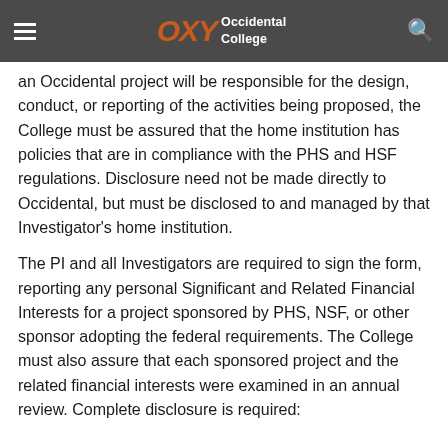OXY Occidental College
an Occidental project will be responsible for the design, conduct, or reporting of the activities being proposed, the College must be assured that the home institution has policies that are in compliance with the PHS and HSF regulations. Disclosure need not be made directly to Occidental, but must be disclosed to and managed by that Investigator's home institution.
The PI and all Investigators are required to sign the form, reporting any personal Significant and Related Financial Interests for a project sponsored by PHS, NSF, or other sponsor adopting the federal requirements. The College must also assure that each sponsored project and the related financial interests were examined in an annual review. Complete disclosure is required: